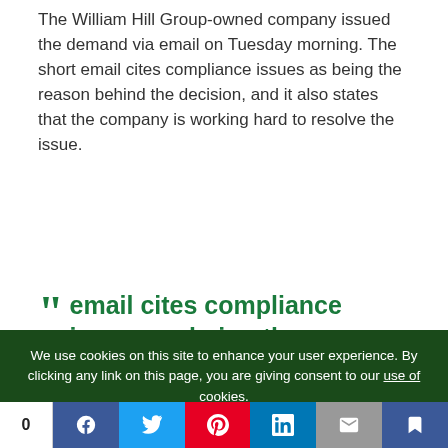The William Hill Group-owned company issued the demand via email on Tuesday morning. The short email cites compliance issues as being the reason behind the decision, and it also states that the company is working hard to resolve the issue.
" email cites compliance issues as being the reason behind the decision
We use cookies on this site to enhance your user experience. By clicking any link on this page, you are giving consent to our use of cookies.
0